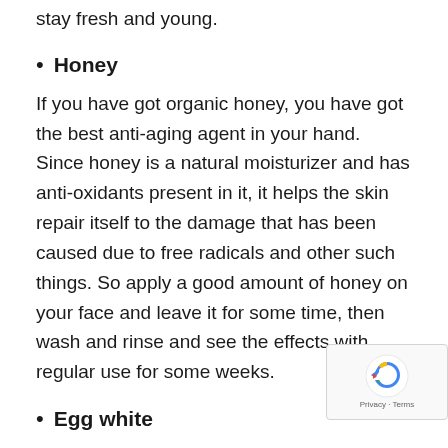stay fresh and young.
Honey
If you have got organic honey, you have got the best anti-aging agent in your hand. Since honey is a natural moisturizer and has anti-oxidants present in it, it helps the skin repair itself to the damage that has been caused due to free radicals and other such things. So apply a good amount of honey on your face and leave it for some time, then wash and rinse and see the effects with regular use for some weeks.
Egg white
The white of the egg is a powerhouse for anti-aging because it is packed with a lot of protein, zinc, and omega-